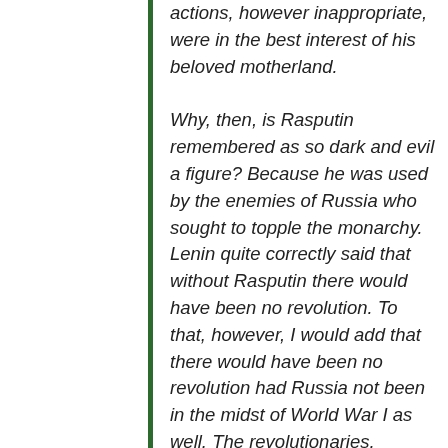actions, however inappropriate, were in the best interest of his beloved motherland. Why, then, is Rasputin remembered as so dark and evil a figure? Because he was used by the enemies of Russia who sought to topple the monarchy. Lenin quite correctly said that without Rasputin there would have been no revolution. To that, however, I would add that there would have been no revolution had Russia not been in the midst of World War I as well. The revolutionaries, seeking to overthrow the tsar, and the Germans, seeking to win the war, used Rasputin—often exaggerating his exploits—to demystify